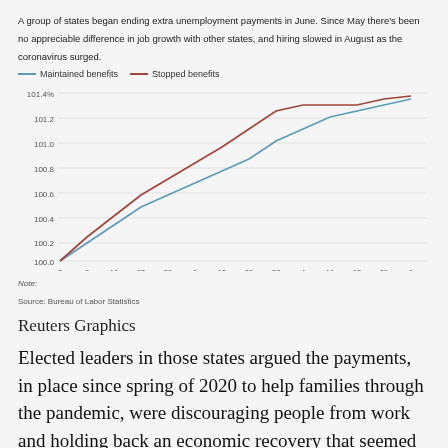A group of states began ending extra unemployment payments in June. Since May there's been no appreciable difference in job growth with other states, and hiring slowed in August as the coronavirus surged.
[Figure (line-chart): ]
Note:
Source: Bureau of Labor Statistics
Reuters Graphics
Elected leaders in those states argued the payments, in place since spring of 2020 to help families through the pandemic, were discouraging people from work and holding back an economic recovery that seemed to [gaining] steam earlier this year when the